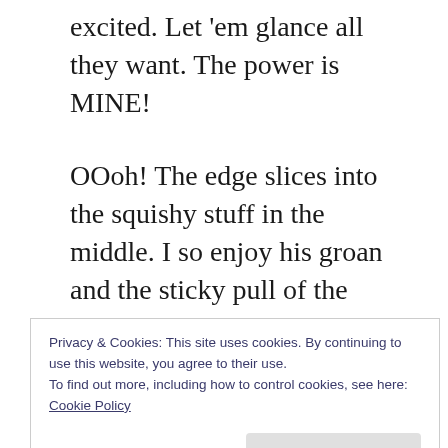excited. Let 'em glance all they want. The power is MINE!
OOoh! The edge slices into the squishy stuff in the middle. I so enjoy his groan and the sticky pull of the blade; the way his face screws up. I saw back and forwards. Another groan, such fun.
With a final crunch Willie's eyes stick out like organ stops. My triumph is complete.
Privacy & Cookies: This site uses cookies. By continuing to use this website, you agree to their use.
To find out more, including how to control cookies, see here:
Cookie Policy
Close and accept
AGAIN: